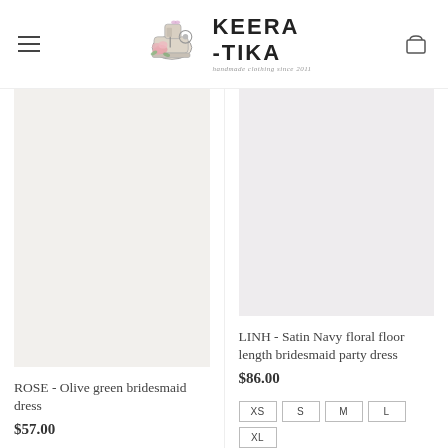KEERA-TIKA handmade clothing since 2011
ROSE - Olive green bridesmaid dress
$57.00
LINH - Satin Navy floral floor length bridesmaid party dress
$86.00
XS S M L XL